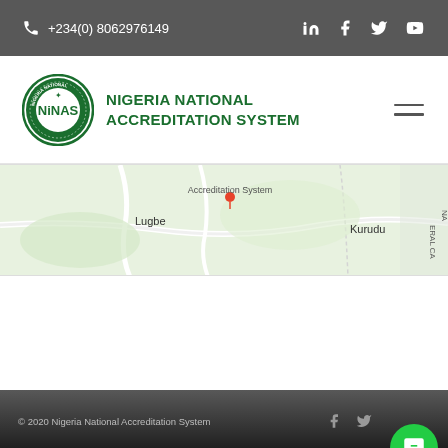+234(0) 8062976149
[Figure (logo): Nigeria National Accreditation System (NiNAS) circular green logo with text and hamburger menu icon]
[Figure (map): Google Maps partial screenshot showing Lugbe, Kurudu areas near Accreditation System location]
© 2020 Nigeria National Accreditation System